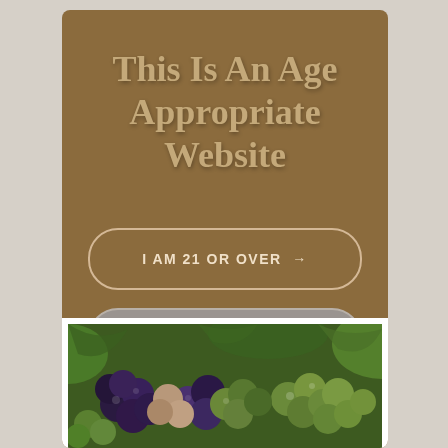This Is An Age Appropriate Website
I AM 21 OR OVER →
I AM NOT YET 21 →
[Figure (photo): Close-up photograph of harvested wine grapes in various stages of ripeness, showing green, purple, and dark blue grapes clustered together]